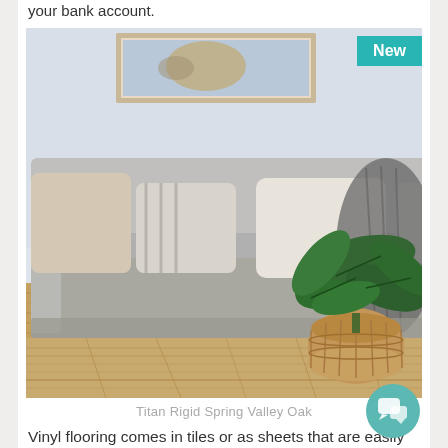your bank account.
[Figure (photo): Modern living room with a grey linen sofa, various cream and striped cushions, a dark knitted throw, and a large leafy plant in a wicker basket on light oak vinyl flooring. A framed artwork hangs on the white wall behind. A teal 'New' badge is in the top right corner.]
Titan Rigid Spring Valley Oak
Vinyl flooring comes in tiles or as sheets that are easily fitted to your home or workplace. Their popularity lies not in that they look almost exactly like ceramic tiles, but that they are easy to install and easier to replace than their ceramic counterparts.